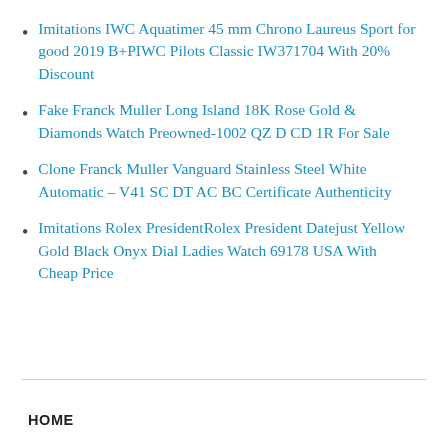Imitations IWC Aquatimer 45 mm Chrono Laureus Sport for good 2019 B+PIWC Pilots Classic IW371704 With 20% Discount
Fake Franck Muller Long Island 18K Rose Gold & Diamonds Watch Preowned-1002 QZ D CD 1R For Sale
Clone Franck Muller Vanguard Stainless Steel White Automatic – V41 SC DT AC BC Certificate Authenticity
Imitations Rolex PresidentRolex President Datejust Yellow Gold Black Onyx Dial Ladies Watch 69178 USA With Cheap Price
HOME